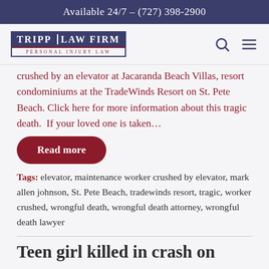Available 24/7 – (727) 398-2900
[Figure (logo): Tripp Law Firm – Personal Injury Law logo with dark blue background and red accent lines]
crushed by an elevator at Jacaranda Beach Villas, resort condominiums at the TradeWinds Resort on St. Pete Beach. Click here for more information about this tragic death.  If your loved one is taken…
Read more
Tags: elevator, maintenance worker crushed by elevator, mark allen johnson, St. Pete Beach, tradewinds resort, tragic, worker crushed, wrongful death, wrongful death attorney, wrongful death lawyer
Teen girl killed in crash on